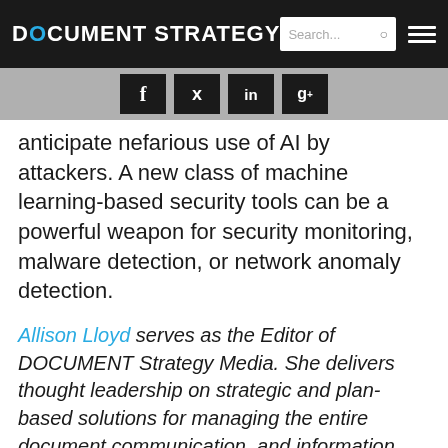DOCUMENT STRATEGY
[Figure (screenshot): Social media share buttons for Facebook, Twitter, LinkedIn, and Google+]
anticipate nefarious use of AI by attackers. A new class of machine learning-based security tools can be a powerful weapon for security monitoring, malware detection, or network anomaly detection.
Allison Lloyd serves as the Editor of DOCUMENT Strategy Media. She delivers thought leadership on strategic and plan-based solutions for managing the entire document communication, and information process. Follow her on Twitter @AllisonYLloyd.